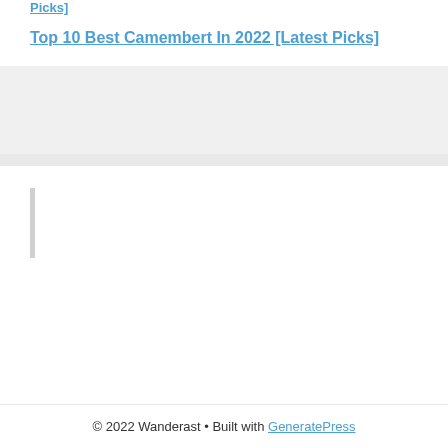Picks]
Top 10 Best Camembert In 2022 [Latest Picks]
© 2022 Wanderast • Built with GeneratePress